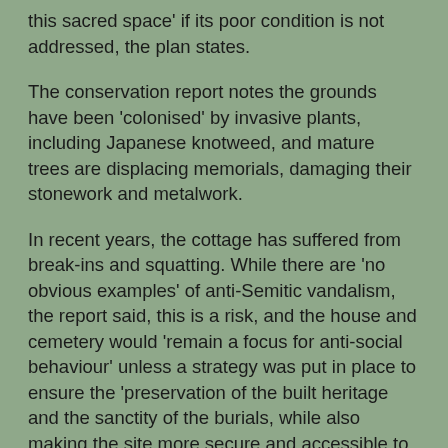this sacred space’ if its poor condition is not addressed, the plan states.
The conservation report notes the grounds have been ‘colonised’ by invasive plants, including Japanese knotweed, and mature trees are displacing memorials, damaging their stonework and metalwork.
In recent years, the cottage has suffered from break-ins and squatting. While there are ‘no obvious examples’ of anti-Semitic vandalism, the report said, this is a risk, and the house and cemetery would ‘remain a focus for anti-social behaviour’ unless a strategy was put in place to ensure the ‘preservation of the built heritage and the sanctity of the burials, while also making the site more secure and accessible to the public.’
The council has carried out historic research, cleared weeds and secured the house. It plans further conservation and restoration work before the cemetery opens to the public. There have been suggestions the house should be used as a museum or interpretive centre. The report recommends it